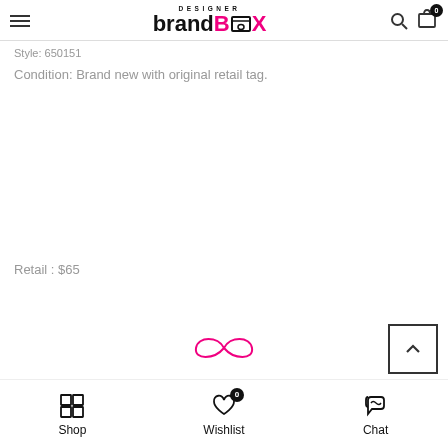Designer BrandBox — navigation header with hamburger menu, logo, search and cart icons
Style: 650151
Condition: Brand new with original retail tag.
Retail : $65
[Figure (logo): CX infinity-style logo in pink outline, centered near bottom of page]
[Figure (other): Scroll-to-top button: square with upward chevron, bottom right]
Shop | Wishlist (0) | Chat